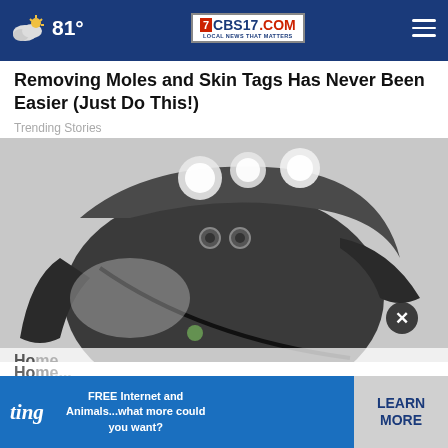81° CBS17.COM LOCAL NEWS THAT MATTERS
Removing Moles and Skin Tags Has Never Been Easier (Just Do This!)
Trending Stories
[Figure (photo): Close-up photo of a dark mechanical/electronic device with LED lights on top, shown at an angle on a light surface]
Home... for This.